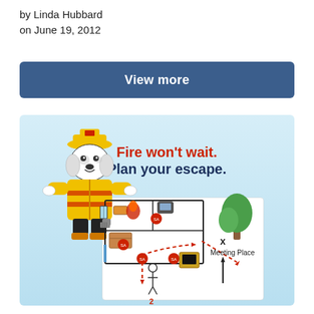by Linda Hubbard
on June 19, 2012
[Figure (other): Blue button labeled 'View more']
[Figure (infographic): Fire safety infographic: cartoon dalmatian firefighter dog with text 'Fire won't wait. Plan your escape.' and a floor plan diagram showing escape routes with dashed red arrows leading to a Meeting Place marked with an X and a tree.]